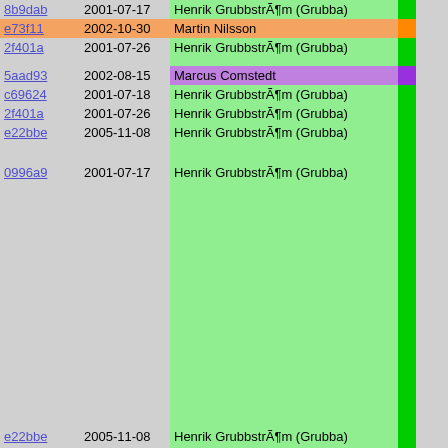| hash | date | author |  | code |
| --- | --- | --- | --- | --- |
| 8b9dab | 2001-07-17 | Henrik GrubbstrÃ¶m (Grubba) |  |  |
| e73f11 | 2002-10-30 | Martin Nilsson |  | fprint |
| 2f401a | 2001-07-26 | Henrik GrubbstrÃ¶m (Grubba) |  | #ifdef PIK
  if ((( |
| 5aad93 | 2002-08-15 | Marcus Comstedt |  | Pike |
| c69624 | 2001-07-18 | Henrik GrubbstrÃ¶m (Grubba) |  | } |
| 2f401a | 2001-07-26 | Henrik GrubbstrÃ¶m (Grubba) |  | #endif /* |
| e22bbe | 2005-11-08 | Henrik GrubbstrÃ¶m (Grubba) |  | #ifdef DIS
  DISASS
#else /* ! |
| 0996a9 | 2001-07-17 | Henrik GrubbstrÃ¶m (Grubba) |  | for (i
  fpri




} |
| e22bbe | 2005-11-08 | Henrik GrubbstrÃ¶m (Grubba) |  | #endif /* |
| 0996a9 | 2001-07-17 | Henrik GrubbstrÃ¶m (Grubba) |  | } |
| 46072b | 2006-03-15 | Henrik GrubbstrÃ¶m (Grubba) |  | x = eval
pike_tra
return x |
| c2-1b | 2002-11-24 | Henrik GrubbstrÃ¶m (Grubba) |  | } |